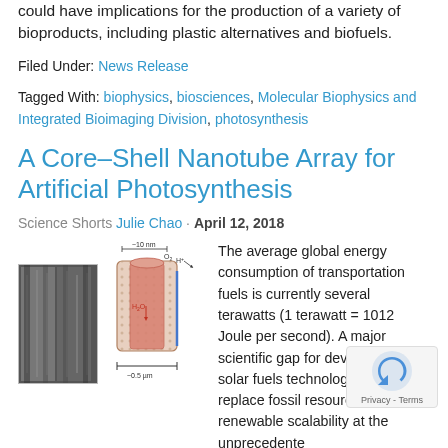could have implications for the production of a variety of bioproducts, including plastic alternatives and biofuels.
Filed Under: News Release
Tagged With: biophysics, biosciences, Molecular Biophysics and Integrated Bioimaging Division, photosynthesis
A Core–Shell Nanotube Array for Artificial Photosynthesis
Science Shorts Julie Chao · April 12, 2018
[Figure (photo): Black and white microscopy image of nanotube array alongside a diagram of a core-shell nanotube with ~10 nm scale marker, O2, H+ labels, H2O arrow, and ~0.5 µm scale bar]
The average global energy consumption of transportation fuels is currently several terawatts (1 terawatt = 1012 Joule per second). A major scientific gap for developing a solar fuels technology that could replace fossil resources with renewable scalability at the unprecedented terawatts level. In fact, the only existing technology for m… chemical compounds on the…